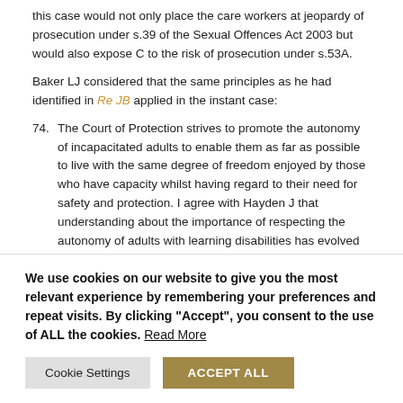this case would not only place the care workers at jeopardy of prosecution under s.39 of the Sexual Offences Act 2003 but would also expose C to the risk of prosecution under s.53A.
Baker LJ considered that the same principles as he had identified in Re JB applied in the instant case:
74. The Court of Protection strives to promote the autonomy of incapacitated adults to enable them as far as possible to live with the same degree of freedom enjoyed by those who have capacity whilst having regard to their need for safety and protection. I agree with Hayden J that understanding about the importance of respecting the autonomy of adults with learning disabilities has evolved and is still evolving. But as part of the wider system for the administration of justice, the Court has to adhere to general principles of law. Alongside
We use cookies on our website to give you the most relevant experience by remembering your preferences and repeat visits. By clicking “Accept”, you consent to the use of ALL the cookies. Read More